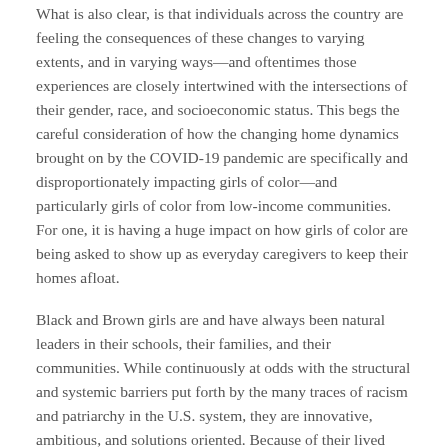What is also clear, is that individuals across the country are feeling the consequences of these changes to varying extents, and in varying ways—and oftentimes those experiences are closely intertwined with the intersections of their gender, race, and socioeconomic status. This begs the careful consideration of how the changing home dynamics brought on by the COVID-19 pandemic are specifically and disproportionately impacting girls of color—and particularly girls of color from low-income communities.  For one, it is having a huge impact on how girls of color are being asked to show up as everyday caregivers to keep their homes afloat.
Black and Brown girls are and have always been natural leaders in their schools, their families, and their communities. While continuously at odds with the structural and systemic barriers put forth by the many traces of racism and patriarchy in the U.S. system, they are innovative, ambitious, and solutions oriented. Because of their lived experiences, they are often wise beyond their years. We can all learn something in trusting their